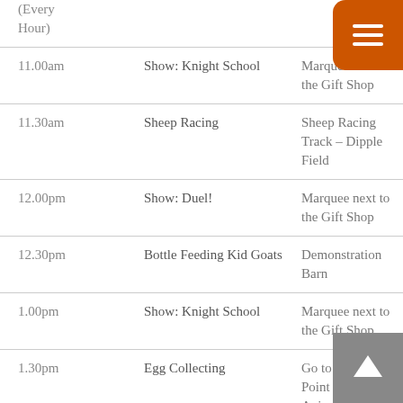| Time | Activity | Location |
| --- | --- | --- |
| (Every Hour) |  |  |
| 11.00am | Show: Knight School | Marquee next to the Gift Shop |
| 11.30am | Sheep Racing | Sheep Racing Track – Dipple Field |
| 12.00pm | Show: Duel! | Marquee next to the Gift Shop |
| 12.30pm | Bottle Feeding Kid Goats | Demonstration Barn |
| 1.00pm | Show: Knight School | Marquee next to the Gift Shop |
| 1.30pm | Egg Collecting | Go to Meeting Point outside Animal Barns |
| 2.00pm | Show: Duel! | Marquee next to the |